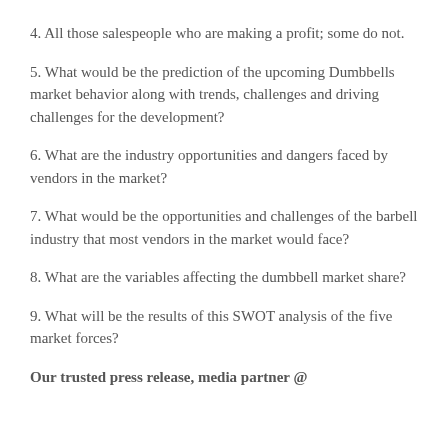4. All those salespeople who are making a profit; some do not.
5. What would be the prediction of the upcoming Dumbbells market behavior along with trends, challenges and driving challenges for the development?
6. What are the industry opportunities and dangers faced by vendors in the market?
7. What would be the opportunities and challenges of the barbell industry that most vendors in the market would face?
8. What are the variables affecting the dumbbell market share?
9. What will be the results of this SWOT analysis of the five market forces?
Our trusted press release, media partner @